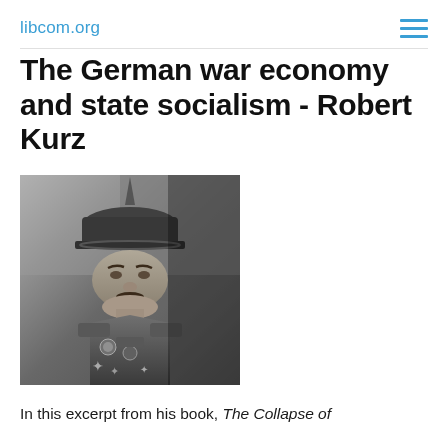libcom.org
The German war economy and state socialism - Robert Kurz
[Figure (photo): Black and white photograph of a WWI-era German military officer wearing a spiked helmet (Pickelhaube) and military uniform with medals and decorations, looking downward with a stern expression.]
In this excerpt from his book, The Collapse of